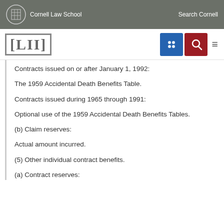Cornell Law School   Search Cornell
[Figure (logo): LII Legal Information Institute logo with Cornell Law School header navigation bar including grid icon and search icon]
Contracts issued on or after January 1, 1992:
The 1959 Accidental Death Benefits Table.
Contracts issued during 1965 through 1991:
Optional use of the 1959 Accidental Death Benefits Tables.
(b) Claim reserves:
Actual amount incurred.
(5) Other individual contract benefits.
(a) Contract reserves: